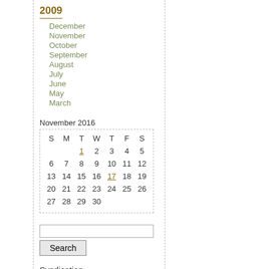2009
December
November
October
September
August
July
June
May
March
November 2016
| S | M | T | W | T | F | S |
| --- | --- | --- | --- | --- | --- | --- |
|  |  | 1 | 2 | 3 | 4 | 5 |
| 6 | 7 | 8 | 9 | 10 | 11 | 12 |
| 13 | 14 | 15 | 16 | 17 | 18 | 19 |
| 20 | 21 | 22 | 23 | 24 | 25 | 26 |
| 27 | 28 | 29 | 30 |  |  |  |
Search
Syndication
[Figure (logo): RSS 2.0 badge with orange RSS label and gray 2.0 label]